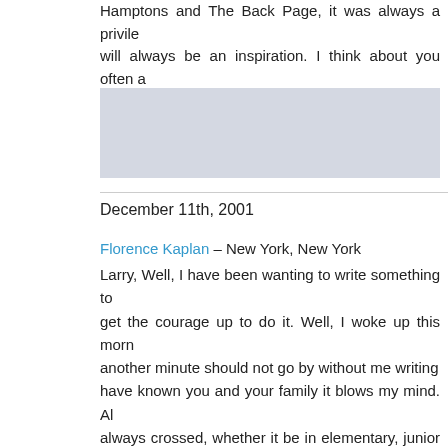Hamptons and The Back Page, it was always a privilege. will always be an inspiration. I think about you often a
December 11th, 2001
Florence Kaplan – New York, New York
Larry, Well, I have been wanting to write something to get the courage up to do it. Well, I woke up this morning another minute should not go by without me writing have known you and your family it blows my mind. always crossed, whether it be in elementary, junior hi wound up living in the city in the same building as you pleasant memories of you, whether it be as children s people believe we were working) during the summer elevator in the apartment building with that huge smi it was, you were always 'on'. Nothing ever seemed to important thing I remember about you is that phone passed away. You were one of the first people to call me. You asked me if I needed anything and told me if be there – and I know you truly meant it. If you only k does. I will never forget that. Larry, I think of you ofte